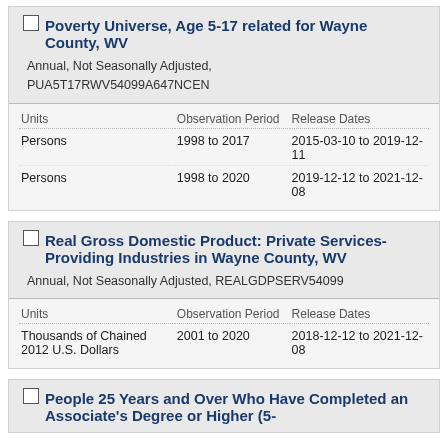Poverty Universe, Age 5-17 related for Wayne County, WV
Annual, Not Seasonally Adjusted, PUA5T17RWV54099A647NCEN
| Units | Observation Period | Release Dates |
| --- | --- | --- |
| Persons | 1998 to 2017 | 2015-03-10 to 2019-12-11 |
| Persons | 1998 to 2020 | 2019-12-12 to 2021-12-08 |
Real Gross Domestic Product: Private Services-Providing Industries in Wayne County, WV
Annual, Not Seasonally Adjusted, REALGDPSERV54099
| Units | Observation Period | Release Dates |
| --- | --- | --- |
| Thousands of Chained 2012 U.S. Dollars | 2001 to 2020 | 2018-12-12 to 2021-12-08 |
People 25 Years and Over Who Have Completed an Associate's Degree or Higher (5-...